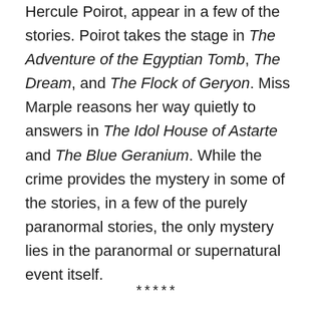Hercule Poirot, appear in a few of the stories. Poirot takes the stage in The Adventure of the Egyptian Tomb, The Dream, and The Flock of Geryon. Miss Marple reasons her way quietly to answers in The Idol House of Astarte and The Blue Geranium. While the crime provides the mystery in some of the stories, in a few of the purely paranormal stories, the only mystery lies in the paranormal or supernatural event itself.
*****